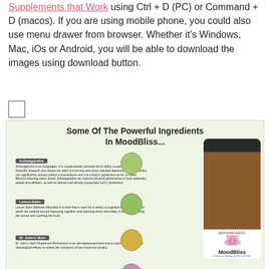Supplements that Work using Ctrl + D (PC) or Command + D (macos). If you are using mobile phone, you could also use menu drawer from browser. Whether it's Windows, Mac, iOs or Android, you will be able to download the images using download button.
[Figure (infographic): Infographic on light green background titled 'Some Of The Powerful Ingredients In MoodBliss...' showing four ingredients: Ashwagandha, Lemon Balm, St. John's Wort, and Passion Flower, each with a small text description and herb image. A MoodBliss supplement bottle by NativOrganics is shown on the right.]